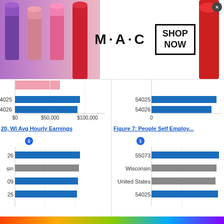[Figure (screenshot): MAC cosmetics advertisement banner with lipsticks and SHOP NOW box]
[Figure (bar-chart): Partial bar chart showing zip codes 54025 and 54026 with dollar axis $0 $50,000 $100,000]
[Figure (bar-chart): Partial right bar chart showing zip codes 54025 54026 with axis 0]
20, WI Avg Hourly Earnings
Figure 7: People Self Employ...
[Figure (bar-chart): Bar chart bottom left showing rows: 26 (blue), Wisconsin (gray), 09 (blue), 25 (blue)]
[Figure (bar-chart): Bar chart bottom right showing rows: 55073 (blue), Wisconsin (gray), United States (gray), 54025 (blue)]
[Figure (screenshot): BitLife advertisement: WHEN REAL LIFE IS QUARANTINED with rainbow and BitLife logo]